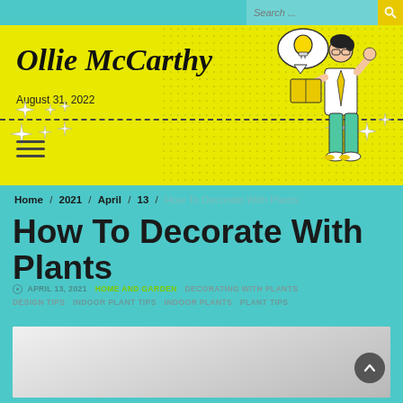Search ...
Ollie McCarthy
August 31, 2022
[Figure (illustration): Cartoon illustration of a person in teal pants and white shirt holding a yellow book, with a lightbulb speech bubble and sparkle stars]
Home / 2021 / April / 13 / How To Decorate With Plants
How To Decorate With Plants
APRIL 13, 2021  HOME AND GARDEN  DECORATING WITH PLANTS  DESIGN TIPS  INDOOR PLANT TIPS  INDOOR PLANTS  PLANT TIPS
[Figure (photo): Grey gradient placeholder image at the bottom of the page]